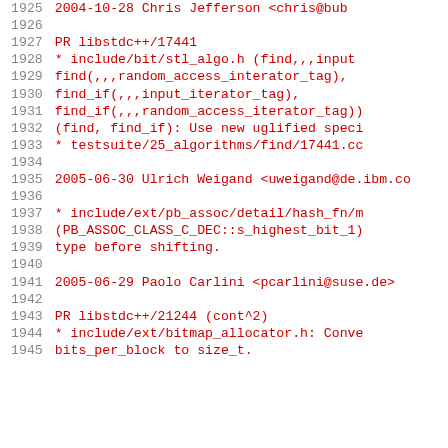1925    2004-10-28  Chris Jefferson  <chris@bub
1926
1927        PR libstdc++/17441
1928        * include/bit/stl_algo.h (find,,,input
1929        find(,,,random_access_interator_tag),
1930        find_if(,,,input_iterator_tag),
1931        find_if(,,,random_access_iterator_tag))
1932        (find, find_if): Use new uglified speci
1933        * testsuite/25_algorithms/find/17441.cc
1934
1935  2005-06-30  Ulrich Weigand  <uweigand@de.ibm.co
1936
1937        * include/ext/pb_assoc/detail/hash_fn/m
1938        (PB_ASSOC_CLASS_C_DEC::s_highest_bit_1)
1939        type before shifting.
1940
1941  2005-06-29  Paolo Carlini  <pcarlini@suse.de>
1942
1943        PR libstdc++/21244 (cont^2)
1944        * include/ext/bitmap_allocator.h: Conve
1945        bits_per_block to size_t.